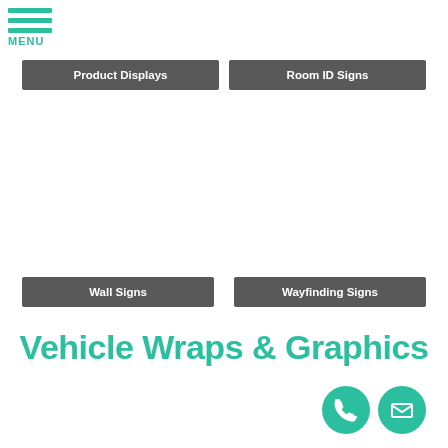[Figure (logo): Hamburger menu icon with three teal horizontal bars and MENU label]
Product Displays
Room ID Signs
Wall Signs
Wayfinding Signs
Vehicle Wraps & Graphics
[Figure (illustration): Teal phone icon in a teal circle]
[Figure (illustration): Teal envelope icon in a teal circle]